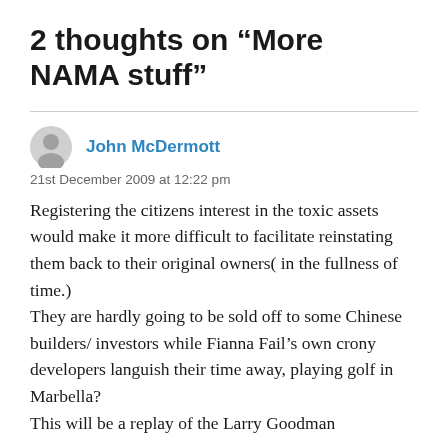2 thoughts on “More NAMA stuff”
John McDermott
21st December 2009 at 12:22 pm
Registering the citizens interest in the toxic assets would make it more difficult to facilitate reinstating them back to their original owners( in the fullness of time.)
They are hardly going to be sold off to some Chinese builders/ investors while Fianna Fail’s own crony developers languish their time away, playing golf in Marbella?
This will be a replay of the Larry Goodman